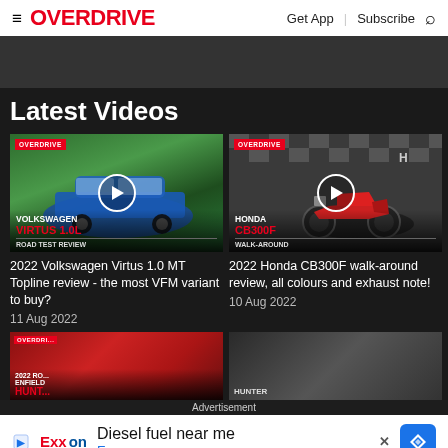OVERDRIVE | Get App | Subscribe
Latest Videos
[Figure (screenshot): Video thumbnail: Volkswagen Virtus 1.0L Road Test Review with OVERDRIVE badge and play button]
[Figure (screenshot): Video thumbnail: Honda CB300F Walk-Around with OVERDRIVE badge and play button]
2022 Volkswagen Virtus 1.0 MT Topline review - the most VFM variant to buy?
11 Aug 2022
2022 Honda CB300F walk-around review, all colours and exhaust note!
10 Aug 2022
[Figure (screenshot): Partial video thumbnail: 2022 Royal Enfield Hunter 350 with OVERDRIVE badge]
[Figure (screenshot): Partial second thumbnail in bottom row with Hunter label]
Advertisement
Diesel fuel near me
Exxon